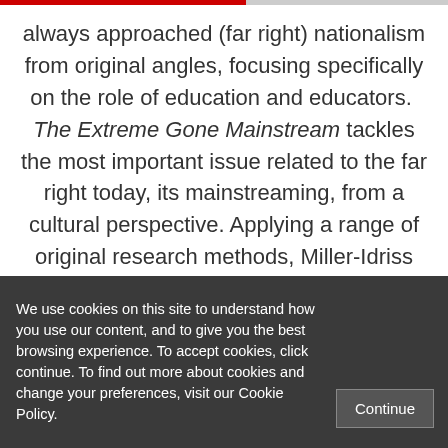always approached (far right) nationalism from original angles, focusing specifically on the role of education and educators. The Extreme Gone Mainstream tackles the most important issue related to the far right today, its mainstreaming, from a cultural perspective. Applying a range of original research methods, Miller-Idriss documents how the commercialisation of far right fashion attracts (disenfranchised) youths
We use cookies on this site to understand how you use our content, and to give you the best browsing experience. To accept cookies, click continue. To find out more about cookies and change your preferences, visit our Cookie Policy.